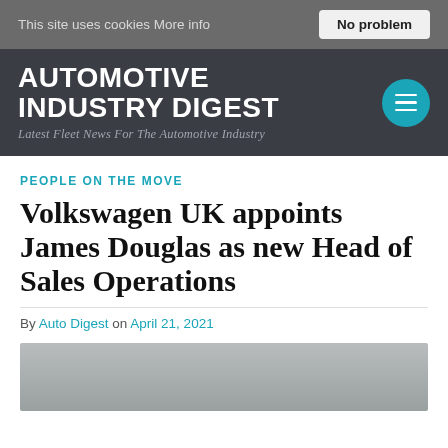This site uses cookies More info   No problem
AUTOMOTIVE INDUSTRY DIGEST
Latest Fleet News For The Automotive Industry
PEOPLE ON THE MOVE
Volkswagen UK appoints James Douglas as new Head of Sales Operations
By Auto Digest on April 21, 2021
[Figure (photo): Gray gradient placeholder photo at bottom of article]